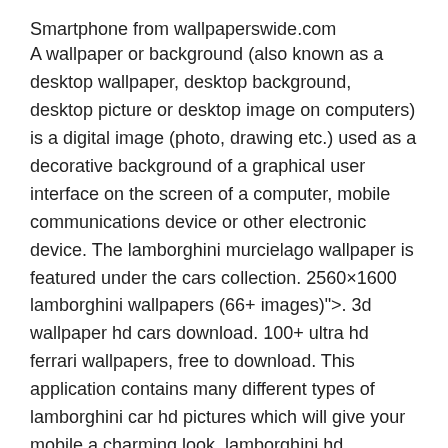Smartphone from wallpaperswide.com
A wallpaper or background (also known as a desktop wallpaper, desktop background, desktop picture or desktop image on computers) is a digital image (photo, drawing etc.) used as a decorative background of a graphical user interface on the screen of a computer, mobile communications device or other electronic device. The lamborghini murcielago wallpaper is featured under the cars collection. 2560×1600 lamborghini wallpapers (66+ images)&quot;&gt;. 3d wallpaper hd cars download. 100+ ultra hd ferrari wallpapers, free to download. This application contains many different types of lamborghini car hd pictures which will give your mobile a charming look. lamborghini hd wallpapers super cars theme. Convenient green